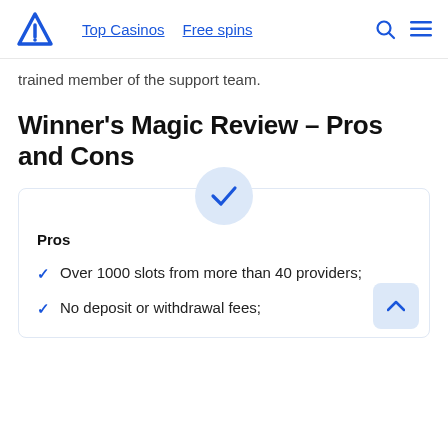Top Casinos  Free spins
trained member of the support team.
Winner's Magic Review – Pros and Cons
Pros
Over 1000 slots from more than 40 providers;
No deposit or withdrawal fees;